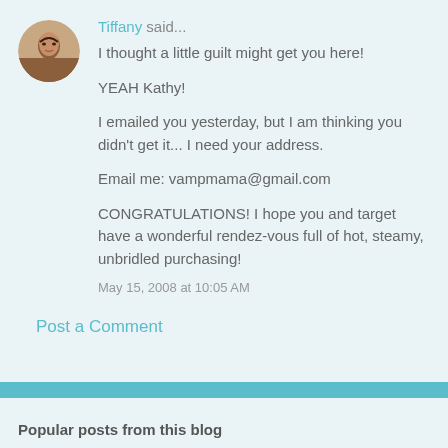[Figure (photo): Circular avatar photo of a woman named Tiffany]
Tiffany said...
I thought a little guilt might get you here!

YEAH Kathy!

I emailed you yesterday, but I am thinking you didn't get it... I need your address.

Email me: vampmama@gmail.com

CONGRATULATIONS! I hope you and target have a wonderful rendez-vous full of hot, steamy, unbridled purchasing!
May 15, 2008 at 10:05 AM
Post a Comment
Popular posts from this blog